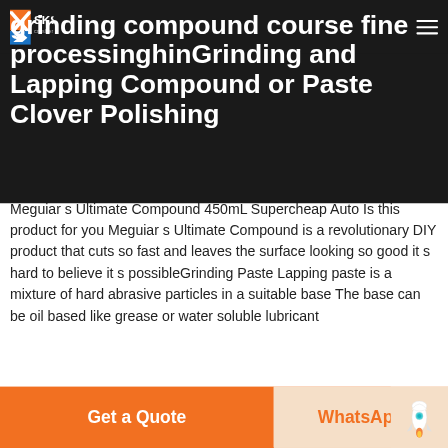SKS crusher expert
grinding compound course fine processinghinGrinding and Lapping Compound or Paste Clover Polishing
Meguiar s Ultimate Compound 450mL Supercheap Auto Is this product for you Meguiar s Ultimate Compound is a revolutionary DIY product that cuts so fast and leaves the surface looking so good it s hard to believe it s possibleGrinding Paste Lapping paste is a mixture of hard abrasive particles in a suitable base The base can be oil based like grease or water soluble lubricant
[Figure (other): Get Price button — teal/cyan rounded rectangle]
[Figure (photo): Industrial facility interior with pipes and overhead structure]
Get a Quote | WhatsApp